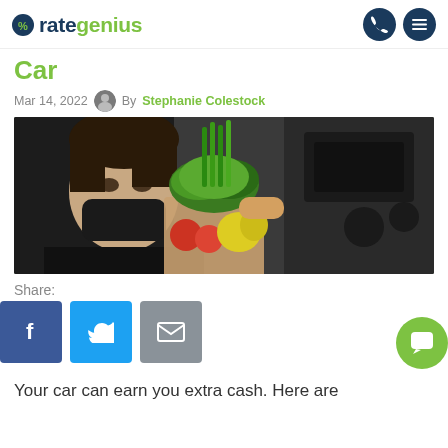rategenius
Car
Mar 14, 2022  By Stephanie Colestock
[Figure (photo): A masked man sitting in a car holding up a paper bag full of fresh groceries including lettuce, green onions, tomatoes, and a yellow bell pepper]
Share:
[Figure (infographic): Social share buttons: Facebook (blue), Twitter (light blue), Email (gray), and a green chat bubble icon]
Your car can earn you extra cash. Here are